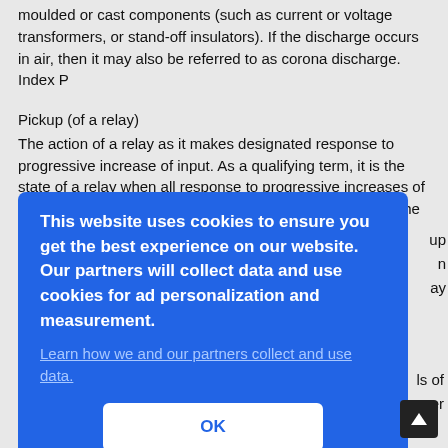moulded or cast components (such as current or voltage transformers, or stand-off insulators). If the discharge occurs in air, then it may also be referred to as corona discharge. Index P
Pickup (of a relay)
The action of a relay as it makes designated response to progressive increase of input. As a qualifying term, it is the state of a relay when all response to progressive increases of input has been completed. Pickup is also used to identify the minimum value of an input quantity reached
[partially obscured by cookie overlay] ...up ...n ...ay
[partially obscured] ...ls of ...er
[Figure (screenshot): Cookie consent overlay on a blue background with text: 'This website uses cookies to ensure you get the best experience on our website. Our partners will collect data and use cookies for ad personalization and measurement.' with a link 'Learn how we and our partners collect and use data.' and an OK button.]
Pilot protection in which a metallic circuit is used for the communicating